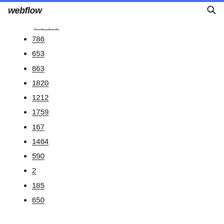webflow
....
786
653
863
1820
1212
1759
167
1464
590
2
185
650